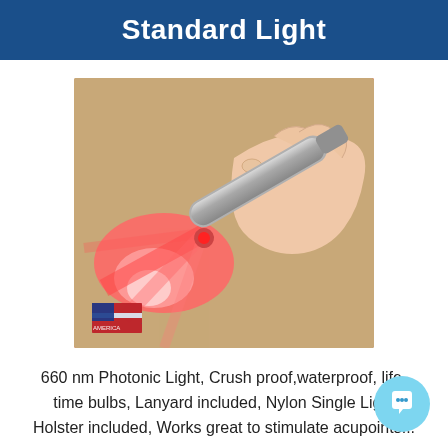Standard Light
[Figure (photo): A hand holding a small silver pen-shaped laser/photonic light device emitting a bright red/pink light beam onto a surface. An American flag logo appears in the lower left corner of the photo.]
660 nm Photonic Light, Crush proof,waterproof, life-time bulbs, Lanyard included, Nylon Single Light Holster included, Works great to stimulate acupoints...